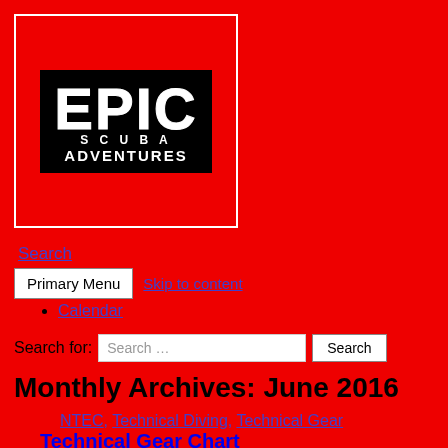[Figure (logo): Epic Scuba Adventures logo — black background with white text reading EPIC SCUBA ADVENTURES, inside a white-bordered box on a red background]
Search
Primary Menu   Skip to content
Calendar
Search for:  Search …  Search
Monthly Archives: June 2016
NTEC, Technical Diving, Technical Gear
Technical Gear Chart